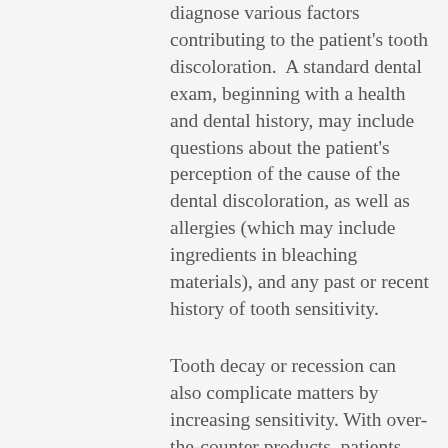diagnose various factors contributing to the patient's tooth discoloration. A standard dental exam, beginning with a health and dental history, may include questions about the patient's perception of the cause of the dental discoloration, as well as allergies (which may include ingredients in bleaching materials), and any past or recent history of tooth sensitivity.
Tooth decay or recession can also complicate matters by increasing sensitivity. With over-the-counter products, patients have less control over the ingredients and dosage strength, which increases the risk of sensitivity and gingival irritation.
For the best results, visit your dentist and have a whitening evaluation to find out what system is best for you. If cost is the issue, your dentist can still recommend the best low-cost over-the-counter whitening system based...